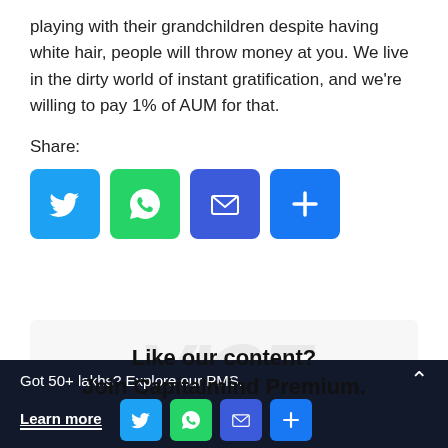playing with their grandchildren despite having white hair, people will throw money at you. We live in the dirty world of instant gratification, and we're willing to pay 1% of AUM for that.
Share:
[Figure (infographic): Social share buttons: Twitter (blue), WhatsApp (green), Email (blue), More (blue plus icon)]
Like our content? Join Capitalmind Premium.
Got 50+ lakhs? Explore our PMS. Learn more [social share buttons: Twitter, WhatsApp, Email, More]